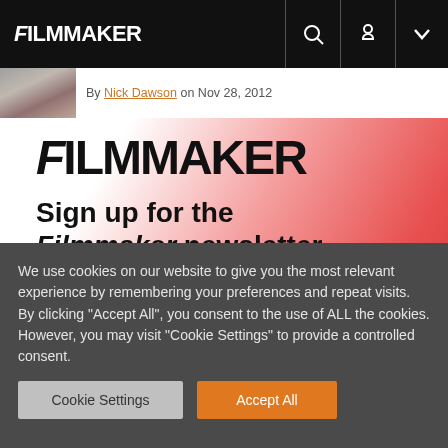FILMMAKER
By Nick Dawson on Nov 28, 2012
[Figure (logo): FILMMAKER logo on gradient red/pink to white background with newsletter signup text: Sign up for the Filmmaker newsletter for exclusive content]
We use cookies on our website to give you the most relevant experience by remembering your preferences and repeat visits. By clicking "Accept All", you consent to the use of ALL the cookies. However, you may visit "Cookie Settings" to provide a controlled consent.
Cookie Settings | Accept All